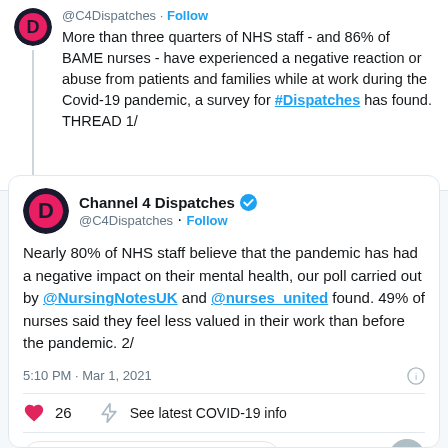@C4Dispatches · Follow
More than three quarters of NHS staff - and 86% of BAME nurses - have experienced a negative reaction or abuse from patients and families while at work during the Covid-19 pandemic, a survey for #Dispatches has found. THREAD 1/
[Figure (screenshot): Channel 4 Dispatches verified Twitter account avatar - pink D logo on dark background]
Channel 4 Dispatches @C4Dispatches · Follow
Nearly 80% of NHS staff believe that the pandemic has had a negative impact on their mental health, our poll carried out by @NursingNotesUK and @nurses_united found. 49% of nurses said they feel less valued in their work than before the pandemic. 2/
5:10 PM · Mar 1, 2021
26  See latest COVID-19 info
Read 3 replies